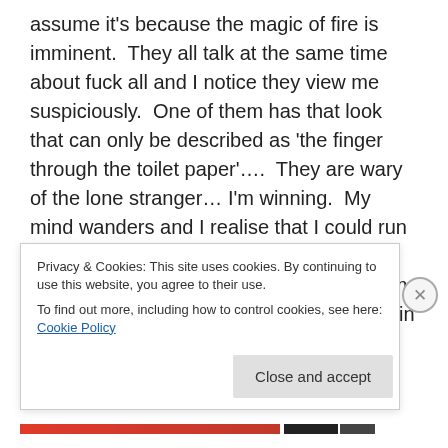assume it's because the magic of fire is imminent.  They all talk at the same time about fuck all and I notice they view me suspiciously.  One of them has that look that can only be described as 'the finger through the toilet paper'….  They are wary of the lone stranger… I'm winning.  My mind wanders and I realise that I could run this fucking town.  I was born for this moment, I can envisage a future where I'm leading the toothless masses of Hastings in revolt against the rest of society… I am Caesar from 'Dawn of the Planet of the Apes'… A simian forehead and just about enough intelligence to lead an army of the
Privacy & Cookies: This site uses cookies. By continuing to use this website, you agree to their use.
To find out more, including how to control cookies, see here: Cookie Policy
Close and accept